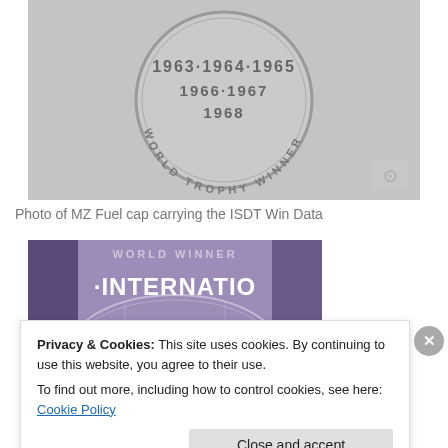[Figure (photo): Photo of a silver/grey metal MZ fuel cap with engraved years 1963·1964·1965, 1966·1967, 1968, and text around the edge reading WORLD TROPHY WINNER. A watermark/photo icon is visible in the bottom right corner.]
Photo of MZ Fuel cap carrying the ISDT Win Data
[Figure (photo): Photo of a purple/violet box or packaging with the text INTERNATIO (international, partially cropped) and a circular badge or logo visible.]
Privacy & Cookies: This site uses cookies. By continuing to use this website, you agree to their use.
To find out more, including how to control cookies, see here: Cookie Policy
Close and accept